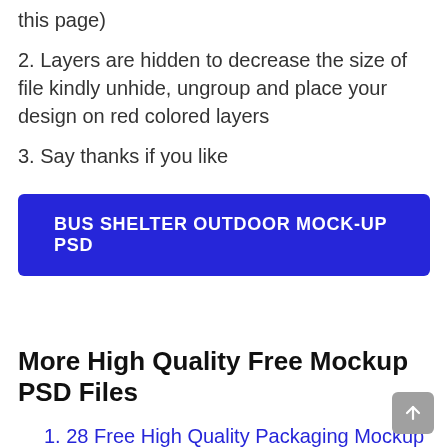this page)
2. Layers are hidden to decrease the size of file kindly unhide, ungroup and place your design on red colored layers
3. Say thanks if you like
[Figure (other): Blue button labeled BUS SHELTER OUTDOOR MOCK-UP PSD]
More High Quality Free Mockup PSD Files
1. 28 Free High Quality Packaging Mockup PSD Files For Presentation